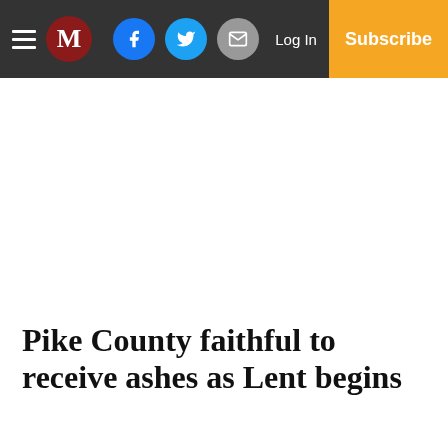M | Log In | Subscribe
Pike County faithful to receive ashes as Lent begins